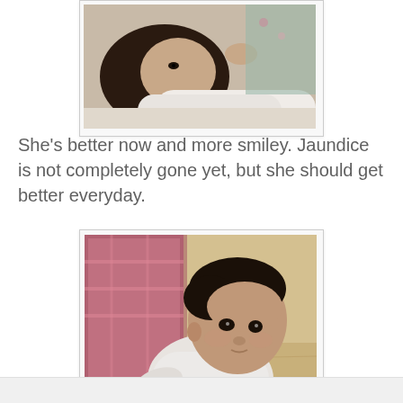[Figure (photo): A newborn baby swaddled in white cloth, being held, with dark hair, eyes partially open, warm background]
She's better now and more smiley. Jaundice is not completely gone yet, but she should get better everyday.
[Figure (photo): A baby lying on a wooden floor, looking alertly at the camera, wearing pink and white clothing, warm tones]